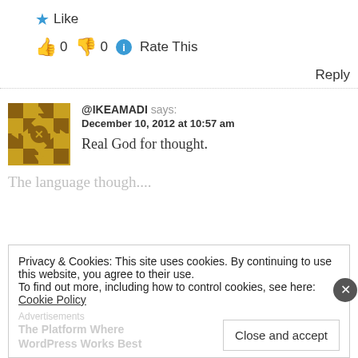★ Like
👍 0 👎 0 ℹ Rate This
Reply
@IKEAMADI says: December 10, 2012 at 10:57 am
Real God for thought.
The language though....
Privacy & Cookies: This site uses cookies. By continuing to use this website, you agree to their use.
To find out more, including how to control cookies, see here: Cookie Policy
Close and accept